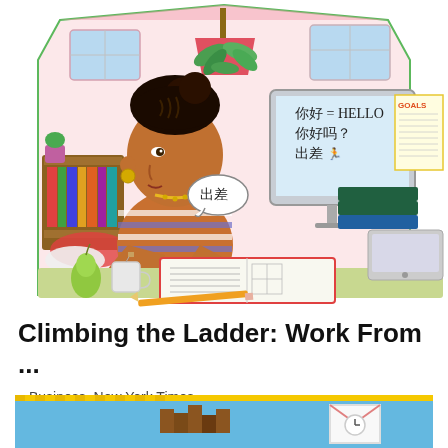[Figure (illustration): Illustrated scene of a Black woman with braided hair sitting at a desk studying Chinese. She wears a blue and white striped shirt and gold earrings. On the desk: an open notebook, a mug of tea, a pear, and a pencil. A computer monitor shows Chinese characters with translations (你好 = HELLO, 你好吗?, 出差 with a figure icon). A speech bubble from her mouth shows 出差. Behind her: bookshelves, a hanging plant in a red pot, windows showing blue sky, and a GOALS list pinned near the monitor. Stacked books and a laptop are also visible. The scene is set in a cozy home office drawn in colored pencil style.]
Climbing the Ladder: Work From ...
Business, New York Times
[Figure (illustration): Partially visible pixel-art style illustration showing a pixelated scene with yellow border, blue sky background, brown pixel structures, and a pixelated envelope/letter icon on the right side.]